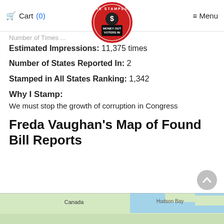Cart (0) | Menu
Number of Times ...
Estimated Impressions: 11,375 times
Number of States Reported In: 2
Stamped in All States Ranking: 1,342
Why I Stamp:
We must stop the growth of corruption in Congress
Freda Vaughan's Map of Found Bill Reports
[Figure (map): A map showing Canada and Hudson Bay, partial view at bottom of page]